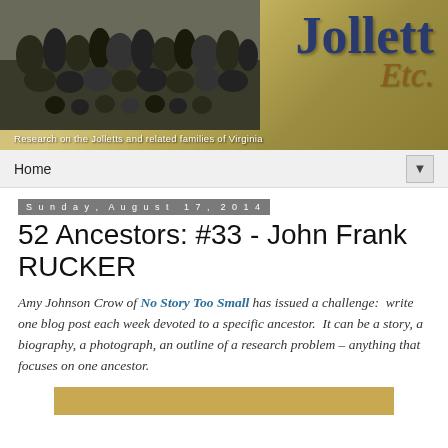[Figure (photo): Blog header banner for 'Jollett Etc.' showing a vintage group photograph on the left and stylized text 'Jollett Etc.' on the right with a textured gold/green background. Tagline reads: Research on the Jolletts and related families of Virginia.]
Home ▼
Sunday, August 17, 2014
52 Ancestors: #33 - John Frank RUCKER
Amy Johnson Crow of No Story Too Small has issued a challenge:  write one blog post each week devoted to a specific ancestor.  It can be a story, a biography, a photograph, an outline of a research problem – anything that focuses on one ancestor.
[Figure (photo): Partial view of an image at the bottom of the page, showing a tan/gold colored strip.]